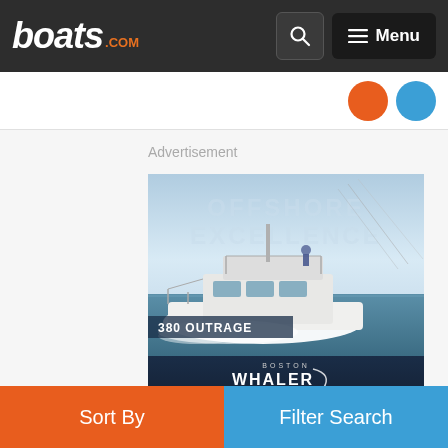boats.com — navigation bar with search and menu
[Figure (screenshot): Partial view of social media sharing icons (orange and blue circles)]
Advertisement
[Figure (photo): Boston Whaler 380 Outrage boat advertisement. Shows a large offshore fishing boat planing through blue water with a person standing on the flybridge. Text overlay reads 'OFFSHORE EXCELLENCE' and '380 OUTRAGE'. Boston Whaler logo displayed on dark navy footer strip.]
Sort By
Filter Search